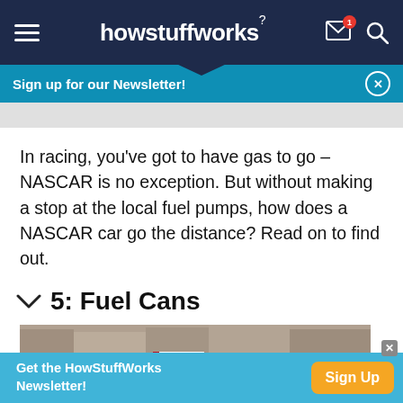howstuffworks
Sign up for our Newsletter!
In racing, you've got to have gas to go – NASCAR is no exception. But without making a stop at the local fuel pumps, how does a NASCAR car go the distance? Read on to find out.
5: Fuel Cans
[Figure (photo): NASCAR pit stop scene with crowd in background, colorful racing equipment visible]
Get the HowStuffWorks Newsletter!